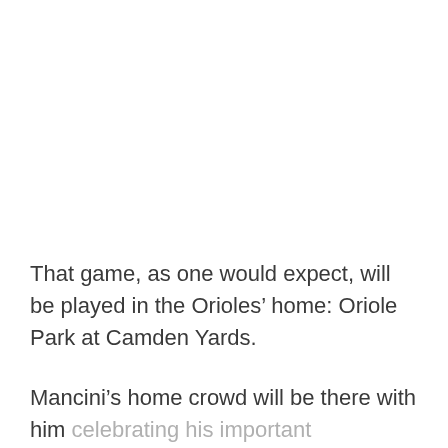That game, as one would expect, will be played in the Orioles’ home: Oriole Park at Camden Yards.
Mancini’s home crowd will be there with him celebrating his important achievement.